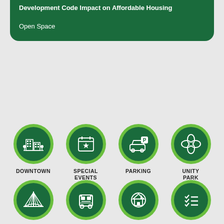Development Code Impact on Affordable Housing
Open Space
[Figure (infographic): Four green circle icons in a row: Downtown (city buildings), Special Events (calendar with star), Parking (car with P sign), Unity Park (floral/leaf design)]
[Figure (infographic): Four green circle icons in a row: Bridge icon, Bus icon, Affordable Housing (house icon), checklist icon — partially visible at bottom]